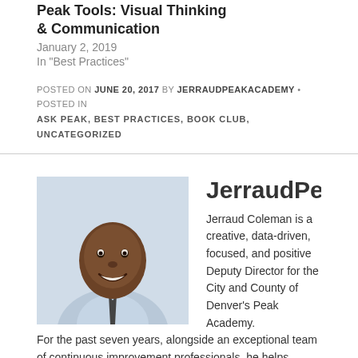Peak Tools: Visual Thinking & Communication
January 2, 2019
In "Best Practices"
POSTED ON JUNE 20, 2017 BY JERRAUDPEAKACADEMY • POSTED IN ASK PEAK, BEST PRACTICES, BOOK CLUB, UNCATEGORIZED
[Figure (photo): Headshot photo of Jerraud Coleman, a man in a light blue shirt and dark tie, smiling]
JerraudPeakAcademy
Jerraud Coleman is a creative, data-driven, focused, and positive Deputy Director for the City and County of Denver's Peak Academy. For the past seven years, alongside an exceptional team of continuous improvement professionals, he helps direct, generate, and facilitate process improvement events throughout Denver, Colorado, and the nation.
He trains employees of government, non-profits, and other enterprises (nationally, abroad and at all levels) in the principles and methods of continuous improvement, performance, and change management tools like Lean, the Four Disciplines of